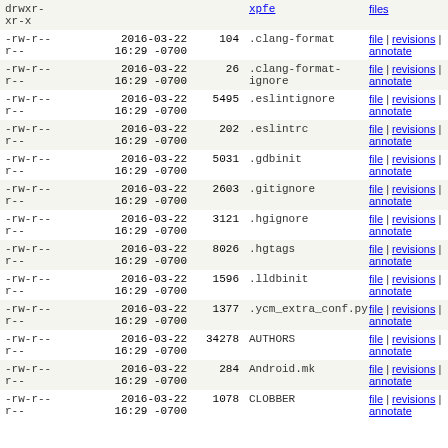| permissions | date | size | name | links |
| --- | --- | --- | --- | --- |
| drwxr-xr-x |  |  | xpfe | files |
| -rw-r--r-- | 2016-03-22 16:29 -0700 | 104 | .clang-format | file | revisions | annotate |
| -rw-r--r-- | 2016-03-22 16:29 -0700 | 26 | .clang-format-ignore | file | revisions | annotate |
| -rw-r--r-- | 2016-03-22 16:29 -0700 | 5495 | .eslintignore | file | revisions | annotate |
| -rw-r--r-- | 2016-03-22 16:29 -0700 | 202 | .eslintrc | file | revisions | annotate |
| -rw-r--r-- | 2016-03-22 16:29 -0700 | 5031 | .gdbinit | file | revisions | annotate |
| -rw-r--r-- | 2016-03-22 16:29 -0700 | 2603 | .gitignore | file | revisions | annotate |
| -rw-r--r-- | 2016-03-22 16:29 -0700 | 3121 | .hgignore | file | revisions | annotate |
| -rw-r--r-- | 2016-03-22 16:29 -0700 | 8026 | .hgtags | file | revisions | annotate |
| -rw-r--r-- | 2016-03-22 16:29 -0700 | 1596 | .lldbinit | file | revisions | annotate |
| -rw-r--r-- | 2016-03-22 16:29 -0700 | 1377 | .ycm_extra_conf.py | file | revisions | annotate |
| -rw-r--r-- | 2016-03-22 16:29 -0700 | 34278 | AUTHORS | file | revisions | annotate |
| -rw-r--r-- | 2016-03-22 16:29 -0700 | 284 | Android.mk | file | revisions | annotate |
| -rw-r--r-- | 2016-03-22 16:29 -0700 | 1078 | CLOBBER | file | revisions | annotate |